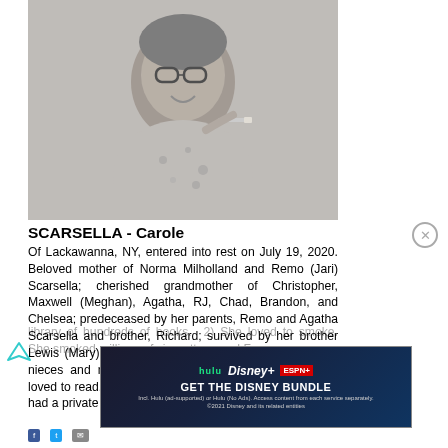[Figure (photo): Black and white photograph of Carole Scarsella, a woman wearing glasses, smiling, holding a cigarette, dressed in a floral/dotted blouse.]
SCARSELLA - Carole
Of Lackawanna, NY, entered into rest on July 19, 2020. Beloved mother of Norma Milholland and Remo (Jari) Scarsella; cherished grandmother of Christopher, Maxwell (Meghan), Agatha, RJ, Chad, Brandon, and Chelsea; predeceased by her parents, Remo and Agatha Scarsella and brother, Richard; survived by her brother Lewis (Mary) and sister-in-law, Eileen, as well as many nieces and nephews. 5 Things about Carole: 1) She loved to read. Her favorite author was Stephen King. She had a private library of hundreds of books. 2) She loved to smoke. She smoked millions of cigarettes...and Fa...
[Figure (screenshot): Advertisement banner for Disney Bundle featuring Hulu, Disney+, and ESPN+ logos with text 'GET THE DISNEY BUNDLE'. Fine print: 'Incl. Hulu (ad-supported) or Hulu (No Ads). Access content from each service separately. ©2021 Disney and its related entities']